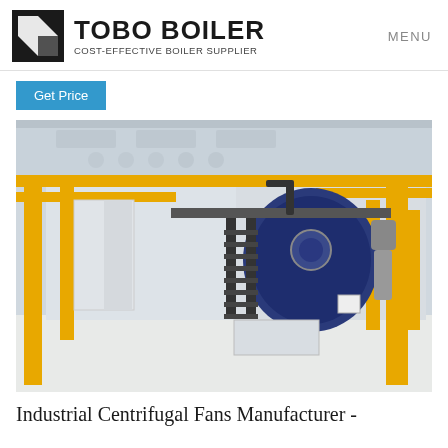TOBO BOILER — COST-EFFECTIVE BOILER SUPPLIER | MENU
Get Price
[Figure (photo): Industrial boiler facility interior showing large blue cylindrical boilers with yellow piping, metal staircases, and a white factory floor.]
Industrial Centrifugal Fans Manufacturer -